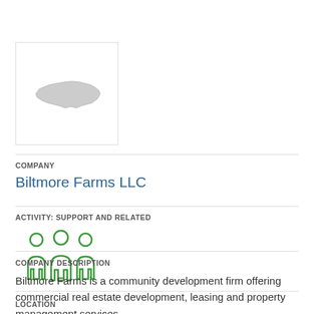[Figure (logo): North Carolina state outline logo in a white box with light gray border]
COMPANY
Biltmore Farms LLC
ACTIVITY: SUPPORT AND RELATED
[Figure (illustration): Green icon of three people standing side by side representing a group or organization]
COMPANY DESCRIPTION
Biltmore Farms is a community development firm offering commercial real estate development, leasing and property management services.
LOCATION